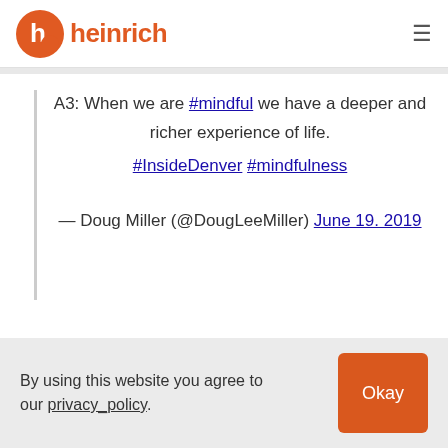heinrich
A3: When we are #mindful we have a deeper and richer experience of life. #InsideDenver #mindfulness
— Doug Miller (@DougLeeMiller) June 19. 2019
By using this website you agree to our privacy_policy.